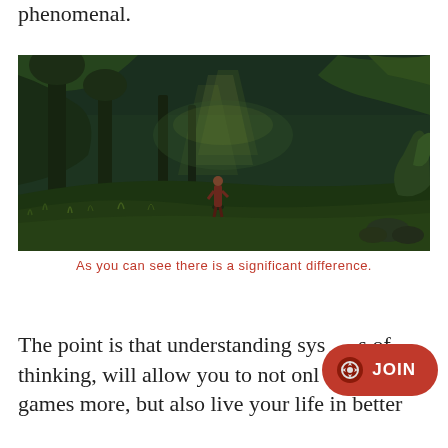phenomenal.
[Figure (screenshot): Video game screenshot showing a fantasy forest environment. A small character stands in the middle of a lush, dark green scene with large twisted trees, glowing light rays in the background, and rocks/grass in the foreground. The atmosphere is moody and dramatic.]
As you can see there is a significant difference.
The point is that understanding systems of thinking, will allow you to not only enjoy games more, but also live your life in better